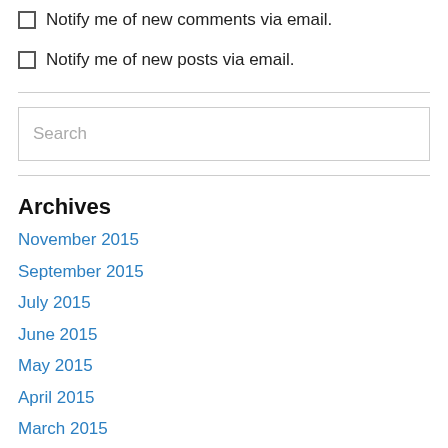Notify me of new comments via email.
Notify me of new posts via email.
Search
Archives
November 2015
September 2015
July 2015
June 2015
May 2015
April 2015
March 2015
February 2015
January 2015